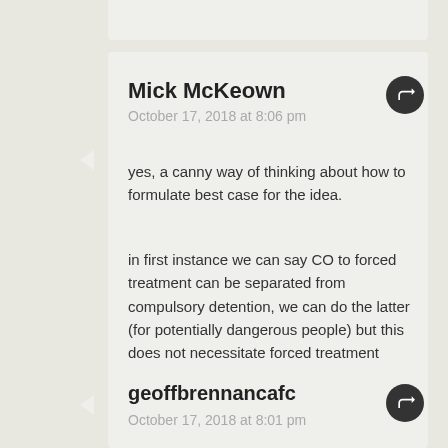Mick McKeown
October 17, 2018 at 8:06 pm
yes, a canny way of thinking about how to formulate best case for the idea.
in first instance we can say CO to forced treatment can be separated from compulsory detention, we can do the latter (for potentially dangerous people) but this does not necessitate forced treatment
Like
geoffbrennancafc
October 17, 2018 at 8:01 pm